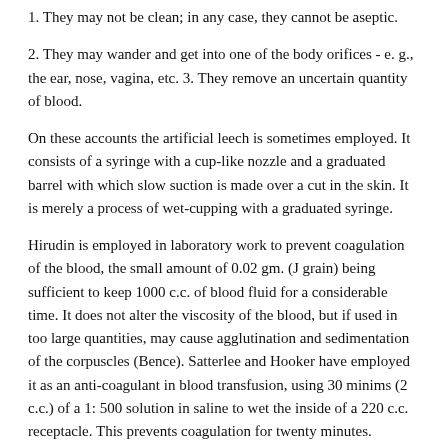1. They may not be clean; in any case, they cannot be aseptic.
2. They may wander and get into one of the body orifices - e. g., the ear, nose, vagina, etc. 3. They remove an uncertain quantity of blood.
On these accounts the artificial leech is sometimes employed. It consists of a syringe with a cup-like nozzle and a graduated barrel with which slow suction is made over a cut in the skin. It is merely a process of wet-cupping with a graduated syringe.
Hirudin is employed in laboratory work to prevent coagulation of the blood, the small amount of 0.02 gm. (J grain) being sufficient to keep 1000 c.c. of blood fluid for a considerable time. It does not alter the viscosity of the blood, but if used in too large quantities, may cause agglutination and sedimentation of the corpuscles (Bence). Satterlee and Hooker have employed it as an anti-coagulant in blood transfusion, using 30 minims (2 c.c.) of a 1: 500 solution in saline to wet the inside of a 220 c.c. receptacle. This prevents coagulation for twenty minutes.